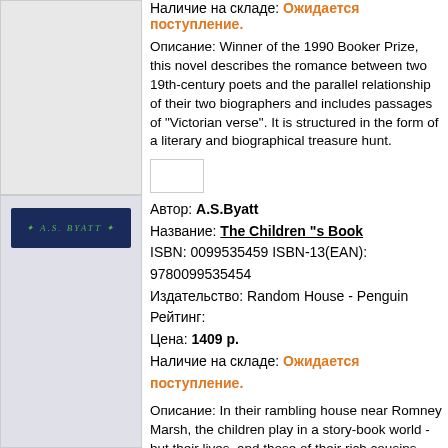Наличие на складе: Ожидается поступление.
Описание: Winner of the 1990 Booker Prize, this novel describes the romance between two 19th-century poets and the parallel relationship of their two biographers and includes passages of "Victorian verse". It is structured in the form of a literary and biographical treasure hunt.
[Figure (other): Add to cart button placeholder]
Автор: A.S.Byatt
Название: The Children "s Book
ISBN: 0099535459 ISBN-13(EAN): 9780099535454
Издательство: Random House - Penguin
Рейтинг:
Цена: 1409 р.
Наличие на складе: Ожидается поступление.
[Figure (illustration): Book cover for The Children's Book by A.S. Byatt - dark navy blue background with decorative green floral/leaf wreath design and author name text]
Описание: In their rambling house near Romney Marsh, the children play in a story-book world - but their lives, and those of their rich cousins and their friends, the son and daughter of a curator at the new Victoria and Albert Museum, are already inscribed with